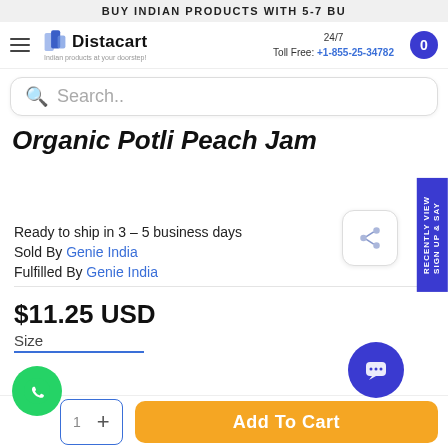BUY INDIAN PRODUCTS WITH 5-7 BU
[Figure (logo): Distacart logo with tagline 'Indian products at your doorstep!']
24/7 Toll Free: +1-855-25-34782
Search..
Organic Potli Peach Jam
Ready to ship in 3 - 5 business days
Sold By Genie India
Fulfilled By Genie India
$11.25 USD
Size
Add To Cart